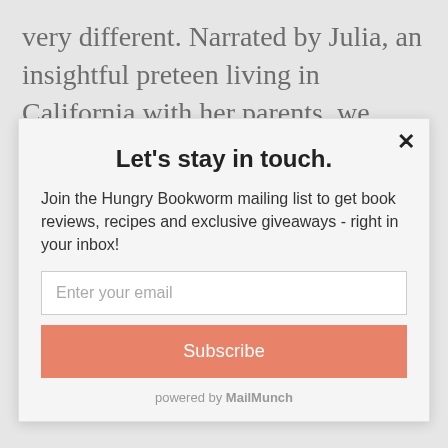very different. Narrated by Julia, an insightful preteen living in California with her parents, we experience the smaller struggles of her family and her community and witness the
Let's stay in touch.
Join the Hungry Bookworm mailing list to get book reviews, recipes and exclusive giveaways - right in your inbox!
Enter your email
Subscribe
powered by MailMunch